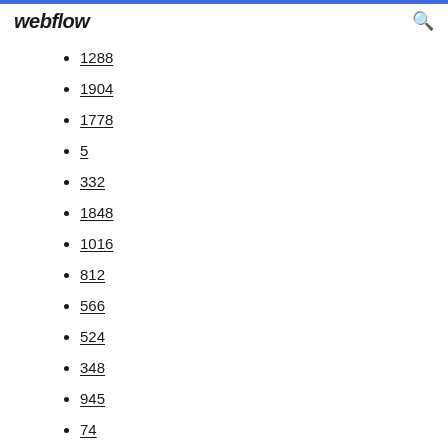webflow
1288
1904
1778
5
332
1848
1016
812
566
524
348
945
74